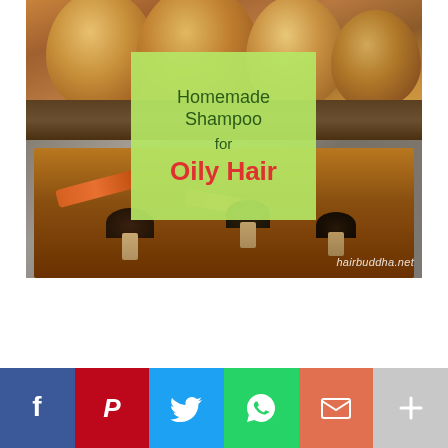[Figure (photo): Composite photo showing brown eggs on a wooden surface (top half) and ingredients including mushrooms and orange peels simmering in a pot of dark liquid (bottom half), with a light green overlay box containing text 'Homemade Shampoo for Oily Hair' and watermark 'hairbuddha.net' in bottom right corner.]
[Figure (infographic): Social media sharing bar with six buttons: Facebook (blue, f icon), Pinterest (red, P icon), Twitter (blue, bird icon), WhatsApp (green, phone icon), Email (orange-red, envelope icon), More (gray, plus icon)]